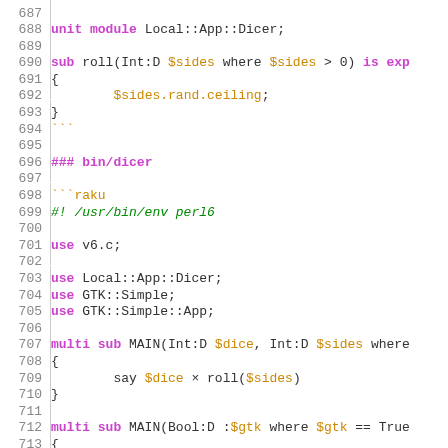687-713: Raku/Perl6 source code snippet showing module Local::App::Dicer, sub roll, bin/dicer script with GTK::Simple usage and multi sub MAIN definitions